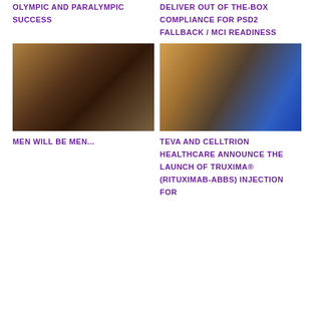OLYMPIC AND PARALYMPIC SUCCESS
DELIVER OUT OF THE-BOX COMPLIANCE FOR PSD2 FALLBACK / MCI READINESS
[Figure (photo): Two people in business attire holding mobile phones, standing close together in an indoor setting with warm brown tones]
[Figure (photo): Laptop computer on a table with a glowing screen showing a figure, with a glass and phone nearby, warm ambient lighting]
MEN WILL BE MEN...
TEVA AND CELLTRION HEALTHCARE ANNOUNCE THE LAUNCH OF TRUXIMA® (RITUXIMAB-ABBS) INJECTION FOR